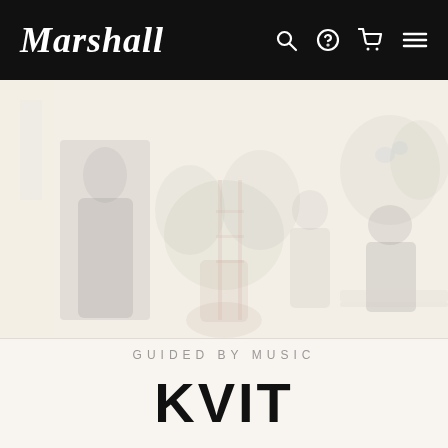Marshall
[Figure (photo): A faded, light-washed lifestyle photo showing two or three people in a bright studio or workshop space with large plants. One person on the left wears dark clothing, another appears in the center near a ladder, and a third is on the right working at a table with flowers or foliage.]
GUIDED BY MUSIC
KVIT